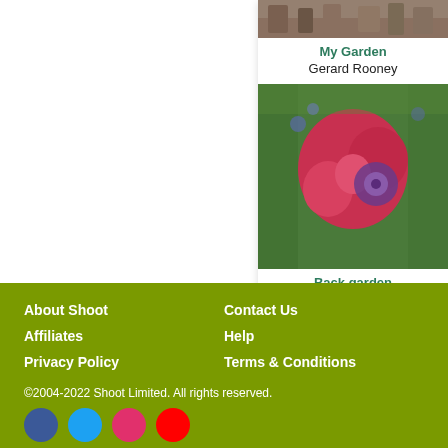[Figure (photo): Top thumbnail image of a garden scene with pots]
My Garden
Gerard Rooney
[Figure (photo): Large photo of red and purple flowers in a garden]
Back garden
Pamela Leech
Report content or feedback to Shoot
About Shoot   Contact Us
Affiliates   Help
Privacy Policy   Terms & Conditions
©2004-2022 Shoot Limited. All rights reserved.